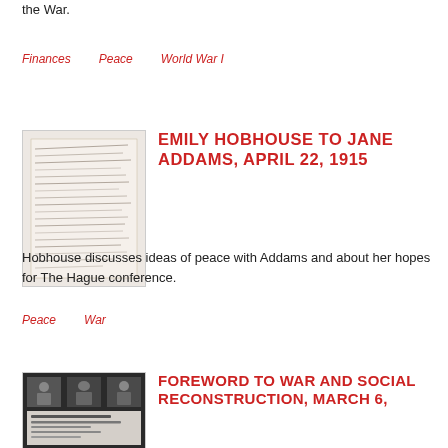the War.
Finances   Peace   World War I
[Figure (photo): Handwritten letter document image]
EMILY HOBHOUSE TO JANE ADDAMS, APRIL 22, 1915
Hobhouse discusses ideas of peace with Addams and about her hopes for The Hague conference.
Peace   War
[Figure (photo): Cover of 'War and Social Reconstruction' book/pamphlet]
FOREWORD TO WAR AND SOCIAL RECONSTRUCTION, MARCH 6,